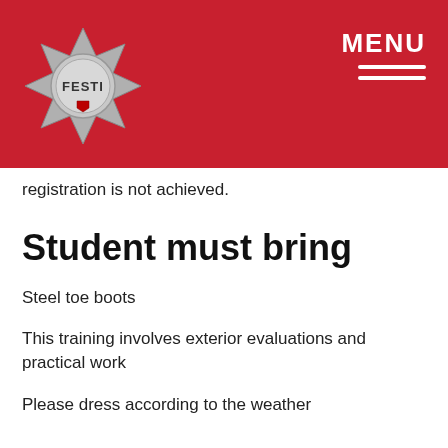[Figure (logo): FESTI firefighter badge/emblem logo in silver on red background]
registration is not achieved.
Student must bring
Steel toe boots
This training involves exterior evaluations and practical work
Please dress according to the weather